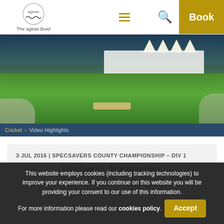[Figure (screenshot): The ageas Bowl website header with logo, hamburger menu, search icon, and gold Book button]
[Figure (photo): Aerial view of a cricket stadium (ageas Bowl) with crowd in stands, white tent pavilion, green pitch and outfield]
Cricket > Video Highlights
3 JUL 2016 | SPECSAVERS COUNTY CHAMPIONSHIP - DIV 1
Durham v Hampshire
This website employs cookies (including tracking technologies) to improve your experience. If you continue on this website you will be providing your consent to our use of this information. For more information please read our cookies policy.